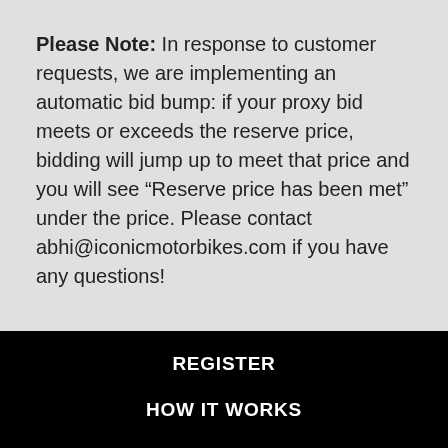Please Note: In response to customer requests, we are implementing an automatic bid bump: if your proxy bid meets or exceeds the reserve price, bidding will jump up to meet that price and you will see “Reserve price has been met” under the price. Please contact abhi@iconicmotorbikes.com if you have any questions!
REGISTER
HOW IT WORKS
ICONIC SERVICE
BIKES IN YOUR INBOX
SUBMIT A BIKE